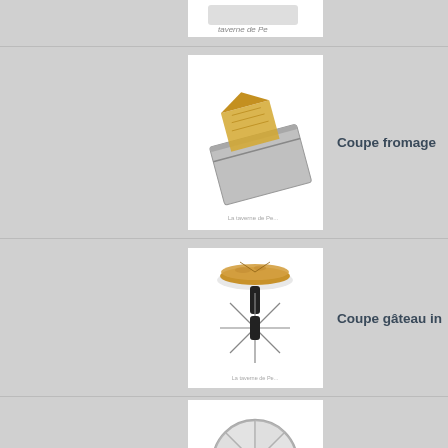[Figure (photo): Partial product image at top - cheese slicer partially visible]
[Figure (photo): Coupe fromage - stainless steel cheese slicer with wire, shown with a wedge of cheese]
Coupe fromage
[Figure (photo): Coupe gâteau in - cake cutter tool with radiating blades and two black handles, shown with a round cake]
Coupe gâteau in
[Figure (photo): Coupe gâteau in - circular wire cake divider/cutter with radial sections]
Coupe gâteau in